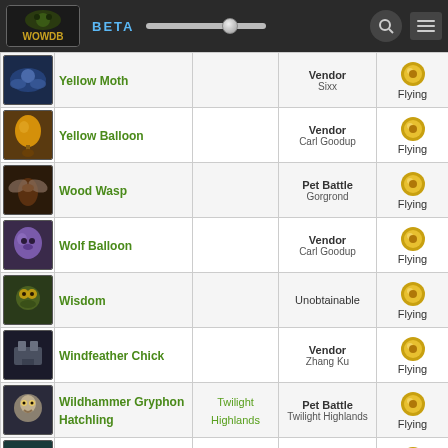WOWDB BETA
| Icon | Name | Zone | Source | Type |
| --- | --- | --- | --- | --- |
| [img] | Yellow Moth |  | Vendor Sixx | Flying |
| [img] | Yellow Balloon |  | Vendor Carl Goodup | Flying |
| [img] | Wood Wasp |  | Pet Battle Gorgrond | Flying |
| [img] | Wolf Balloon |  | Vendor Carl Goodup | Flying |
| [img] | Wisdom |  | Unobtainable | Flying |
| [img] | Windfeather Chick |  | Vendor Zhang Ku | Flying |
| [img] | Wildhammer Gryphon Hatchling | Twilight Highlands | Pet Battle Twilight Highlands | Flying |
| [img] | Wild Etherwyrm |  | Pet Battle Bastion | Flying |